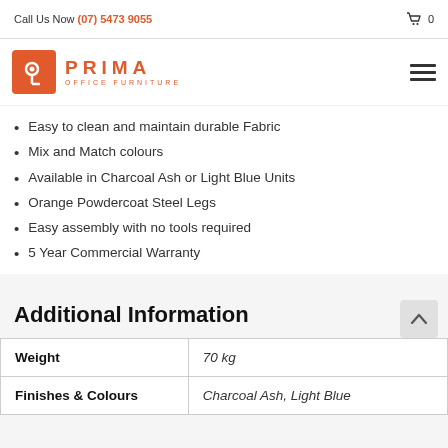Call Us Now (07) 5473 9055  🛒 0
[Figure (logo): Prima Office Furniture logo — orange square with stylized P icon, PRIMA in orange uppercase spaced letters, OFFICE FURNITURE in small orange letters below]
Easy to clean and maintain durable Fabric
Mix and Match colours
Available in Charcoal Ash or Light Blue Units
Orange Powdercoat Steel Legs
Easy assembly with no tools required
5 Year Commercial Warranty
Additional Information
|  |  |
| --- | --- |
| Weight | 70 kg |
| Finishes & Colours | Charcoal Ash, Light Blue |